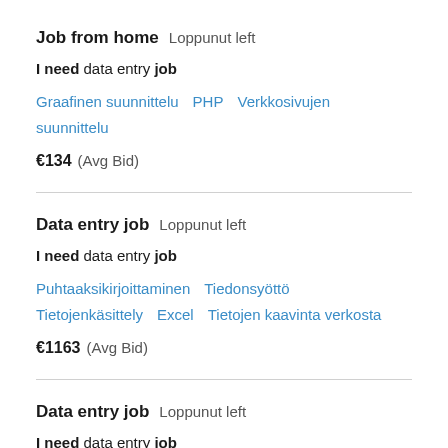Job from home  Loppunut left
I need data entry job
Graafinen suunnittelu   PHP   Verkkosivujen suunnittelu
€134  (Avg Bid)
Data entry job  Loppunut left
I need data entry job
Puhtaaksikirjoittaminen   Tiedonsyöttö   Tietojenkäsittely   Excel   Tietojen kaavinta verkosta
€1163  (Avg Bid)
Data entry job  Loppunut left
I need data entry job